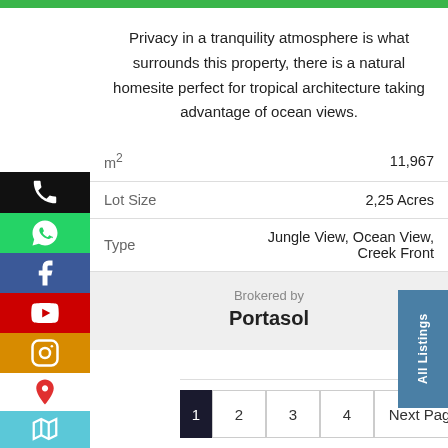Privacy in a tranquility atmosphere is what surrounds this property, there is a natural homesite perfect for tropical architecture taking advantage of ocean views.
| Property | Value |
| --- | --- |
| m² | 11,967 |
| Lot Size | 2,25 Acres |
| Type | Jungle View, Ocean View, Creek Front |
Brokered by
Portasol
All Listings
2  3  4  Next Page »